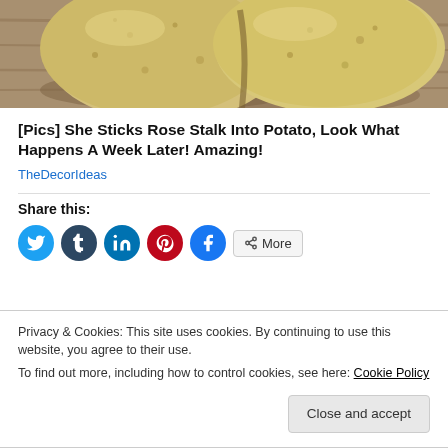[Figure (photo): Close-up photo of two yellow/cream potatoes on a wooden surface with shadows]
[Pics] She Sticks Rose Stalk Into Potato, Look What Happens A Week Later! Amazing!
TheDecorIdeas
Share this:
[Figure (infographic): Social share buttons: Twitter, Tumblr, LinkedIn, Pinterest, Facebook, and More]
Privacy & Cookies: This site uses cookies. By continuing to use this website, you agree to their use.
To find out more, including how to control cookies, see here: Cookie Policy